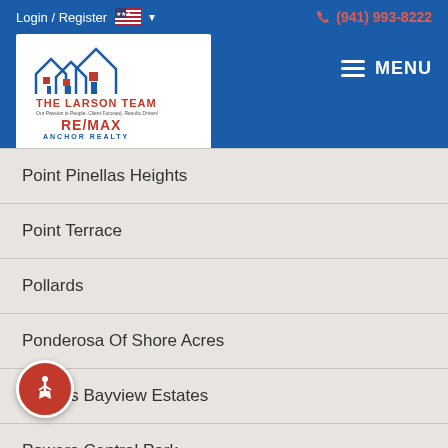Login / Register  (941) 993-8222  MENU
[Figure (logo): The Larson Team RE/MAX Anchor Realty logo with house icons]
Point Pinellas Heights
Point Terrace
Pollards
Ponderosa Of Shore Acres
Powers Bayview Estates
Powers Central Park
Railsbacks
Ravenswood